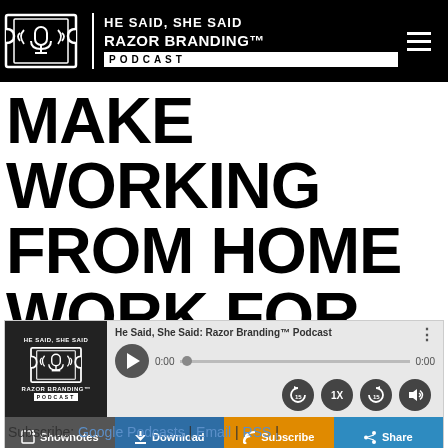HE SAID, SHE SAID RAZOR BRANDING™ PODCAST
MAKE WORKING FROM HOME WORK FOR YOU.
[Figure (screenshot): Podcast player widget for He Said, She Said: Razor Branding™ Podcast with play button, progress bar, time display 0:00, skip-back 15, speed 1X, skip-forward 15, and volume controls, plus action buttons: Shownotes, Download, Subscribe, Share]
Subscribe: Google Podcasts | Email | RSS | More